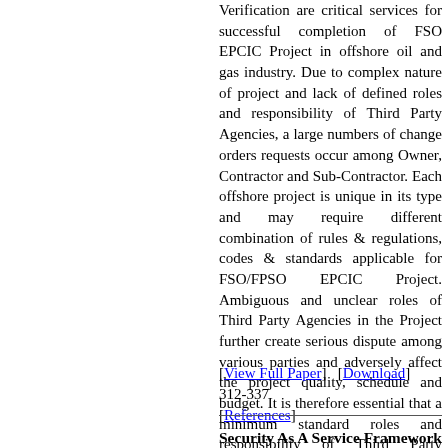Verification are critical services for successful completion of FSO EPCIC Project in offshore oil and gas industry. Due to complex nature of project and lack of defined roles and responsibility of Third Party Agencies, a large numbers of change orders requests occur among Owner, Contractor and Sub-Contractor. Each offshore project is unique in its type and may require different combination of rules & regulations, codes & standards applicable for FSO/FPSO EPCIC Project. Ambiguous and unclear roles of Third Party Agencies in the Project further create serious dispute among various parties and adversely affect the project quality, schedule and budget. It is therefore essential that a minimum standard roles and responsibility of Third Party Agencies in the EPCIC project is properly defined with identification of applicable rules & regulations, or codes & standards.
[View Full Paper]  [Download]  312-337 [References]
Security As A Service Framework For Broadly And More Majority Of